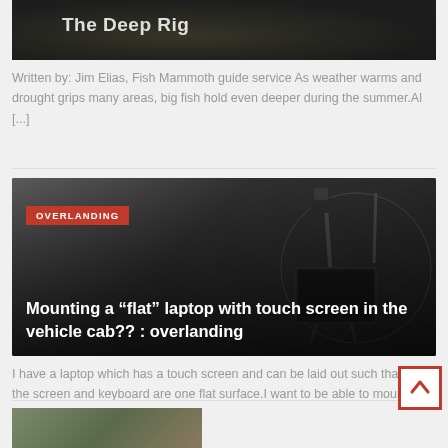[Figure (photo): Partial view of a fishing article image showing a fish with text overlay 'The Deep Rig' on dark background]
Written by: Jim Elias, Fish Mammoth guide service As weather warms and drought grips many areas, big fish hold even deeper during the summer.Al [...]
[Figure (photo): Black and white image of camera/equipment mounting hardware with OVERLANDING badge and title overlay: Mounting a “flat” laptop with touch screen in the vehicle cab?? : overlanding]
I have a laptop which has a touch screen and can be laid out such that the screen and keyboard are one flat surface.I want to be able to mount this su [...]
[Figure (photo): Partial bottom strip showing an outdoor/nature scene]